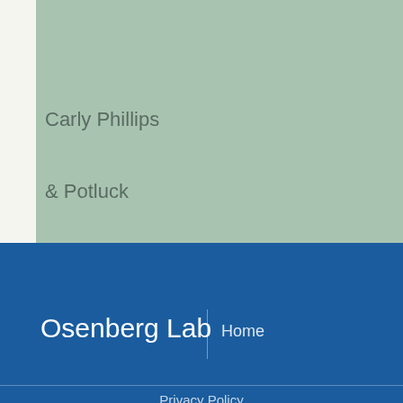[Figure (other): Green/sage colored banner image area at the top of the page]
Carly Phillips
& Potluck
Osenberg Lab | Home
Privacy Policy